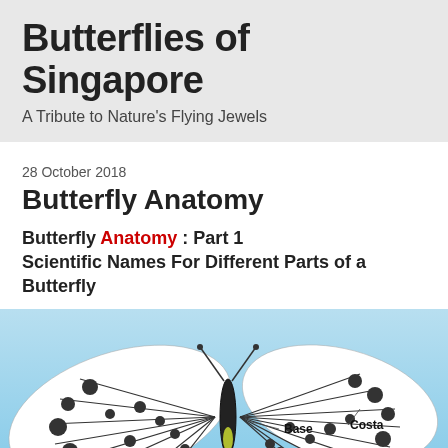Butterflies of Singapore
A Tribute to Nature's Flying Jewels
28 October 2018
Butterfly Anatomy
Butterfly Anatomy : Part 1
Scientific Names For Different Parts of a Butterfly
[Figure (photo): A black and white spotted butterfly (Paper Kite / Idea leuconoe) photographed against a light blue sky background, with anatomical labels 'Base' and 'Costa' marked on the wing areas.]